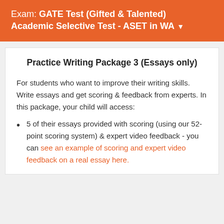Exam: GATE Test (Gifted & Talented) Academic Selective Test - ASET in WA
Practice Writing Package 3 (Essays only)
For students who want to improve their writing skills. Write essays and get scoring & feedback from experts. In this package, your child will access:
5 of their essays provided with scoring (using our 52-point scoring system) & expert video feedback - you can see an example of scoring and expert video feedback on a real essay here.